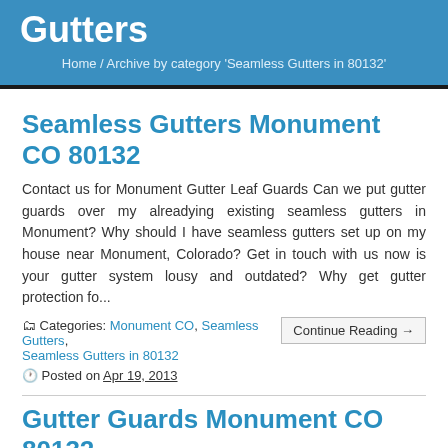Gutters
Home / Archive by category 'Seamless Gutters in 80132'
Seamless Gutters Monument CO 80132
Contact us for Monument Gutter Leaf Guards Can we put gutter guards over my alreadying existing seamless gutters in Monument? Why should I have seamless gutters set up on my house near Monument, Colorado? Get in touch with us now is your gutter system lousy and outdated? Why get gutter protection fo...
Categories: Monument CO, Seamless Gutters, Seamless Gutters in 80132
Posted on Apr 19, 2013
Gutter Guards Monument CO 80132